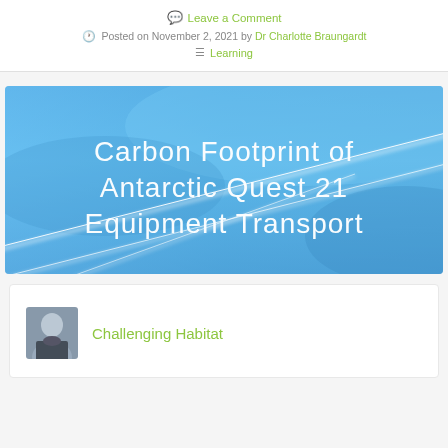Leave a Comment
Posted on November 2, 2021 by Dr Charlotte Braungardt
Learning
[Figure (photo): Blue sky with white contrails/vapor trails crossing diagonally. Large white text overlay reads: Carbon Footprint of Antarctic Quest 21 Equipment Transport]
Challenging Habitat